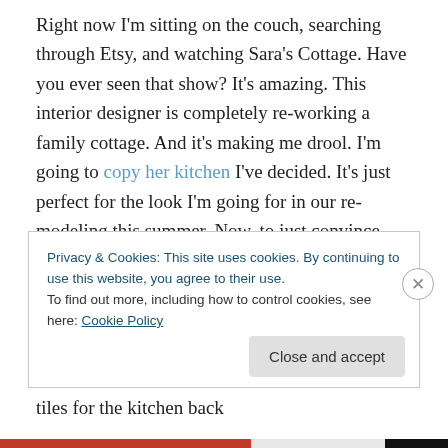Right now I'm sitting on the couch, searching through Etsy, and watching Sara's Cottage. Have you ever seen that show? It's amazing. This interior designer is completely re-working a family cottage. And it's making me drool. I'm going to copy her kitchen I've decided. It's just perfect for the look I'm going for in our re-modeling this summer. Now, to just convince Hubby…
I need to reupholster the kitchen chairs so I'll be keeping my eye out for some light green plaid or striped fabric. I think we'll go for white rectangle tiles for the kitchen back
Privacy & Cookies: This site uses cookies. By continuing to use this website, you agree to their use.
To find out more, including how to control cookies, see here: Cookie Policy